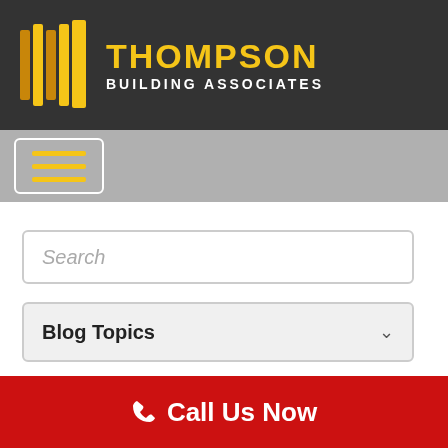[Figure (logo): Thompson Building Associates logo with golden vertical bar icon and text on dark background]
[Figure (screenshot): Mobile navigation hamburger menu button with three yellow lines on gray background]
Search
Blog Topics
Archives
Search
Call Us Now